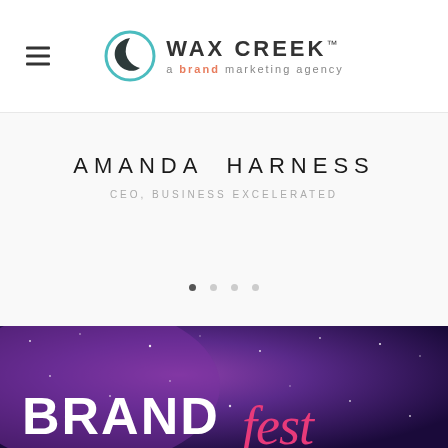[Figure (logo): Wax Creek brand marketing agency logo with circular icon and text 'WAX CREEK™ a brand marketing agency']
AMANDA HARNESS
CEO, BUSINESS EXCELERATED
[Figure (other): Slide carousel dot indicators showing 4 dots, first dot active/filled]
[Figure (photo): Dark purple/blue galaxy space background image with text 'BRANDfest' partially visible, pink cursive font and white bold letters]